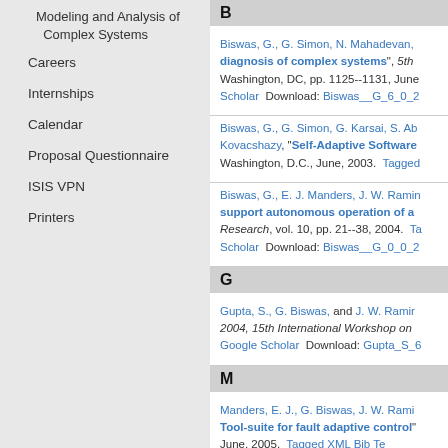Modeling and Analysis of Complex Systems
Careers
Internships
Calendar
Proposal Questionnaire
ISIS VPN
Printers
B
Biswas, G., G. Simon, N. Mahadevan, ... "diagnosis of complex systems", 5th ... Washington, DC, pp. 1125--1131, June ... Scholar  Download: Biswas__G_6_0_2...
Biswas, G., G. Simon, G. Karsai, S. Ab... Kovacshazy, "Self-Adaptive Software... Washington, D.C., June, 2003.  Tagged...
Biswas, G., E. J. Manders, J. W. Ramin... support autonomous operation of a... Research, vol. 10, pp. 21--38, 2004.  Ta... Scholar  Download: Biswas__G_0_0_2...
G
Gupta, S., G. Biswas, and J. W. Ramir... 2004, 15th International Workshop on ... Google Scholar  Download: Gupta_S_6...
M
Manders, E. J., G. Biswas, J. W. Rami... "Tool-suite for fault adaptive control"... June, 2005.  Tagged XML Bib Te...